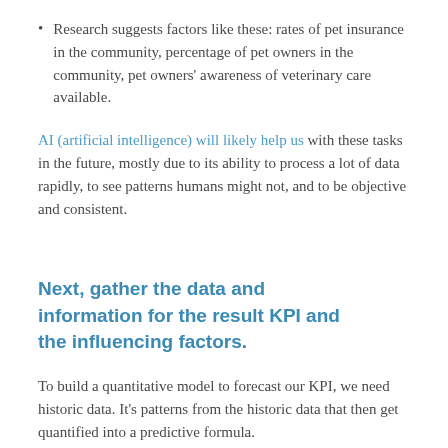Research suggests factors like these: rates of pet insurance in the community, percentage of pet owners in the community, pet owners' awareness of veterinary care available.
AI (artificial intelligence) will likely help us with these tasks in the future, mostly due to its ability to process a lot of data rapidly, to see patterns humans might not, and to be objective and consistent.
Next, gather the data and information for the result KPI and the influencing factors.
To build a quantitative model to forecast our KPI, we need historic data. It's patterns from the historic data that then get quantified into a predictive formula.